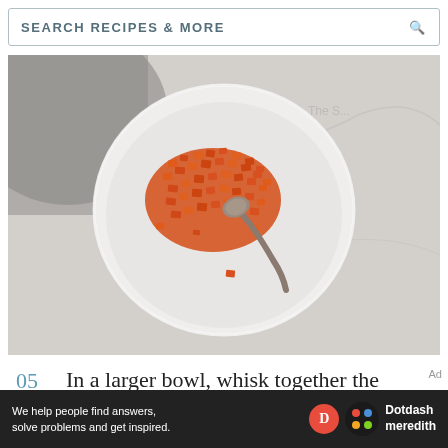SEARCH RECIPES & MORE
[Figure (photo): Overhead view of a white bowl containing diced orange/red vegetables (carrots or similar) with a silver spoon, on a marble surface]
05  In a larger bowl, whisk together the
[Figure (other): Advertisement bar: 'We help people find answers, solve problems and get inspired.' Dotdash Meredith branding]